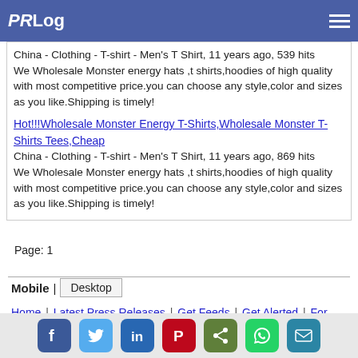PRLog
China - Clothing - T-shirt - Men's T Shirt, 11 years ago, 539 hits
We Wholesale Monster energy hats ,t shirts,hoodies of high quality with most competitive price.you can choose any style,color and sizes as you like.Shipping is timely!
Hot!!!Wholesale Monster Energy T-Shirts,Wholesale Monster T-Shirts Tees,Cheap
China - Clothing - T-shirt - Men's T Shirt, 11 years ago, 869 hits
We Wholesale Monster energy hats ,t shirts,hoodies of high quality with most competitive price.you can choose any style,color and sizes as you like.Shipping is timely!
Page: 1
Mobile | Desktop
Home | Latest Press Releases | Get Feeds | Get Alerted | For Bloggers | PR Newswire Distribution | Privacy | TOS | Contact | Copyright | About
[Figure (infographic): Social media sharing icons: Facebook, Twitter, LinkedIn, Pinterest, Share, WhatsApp, Email]